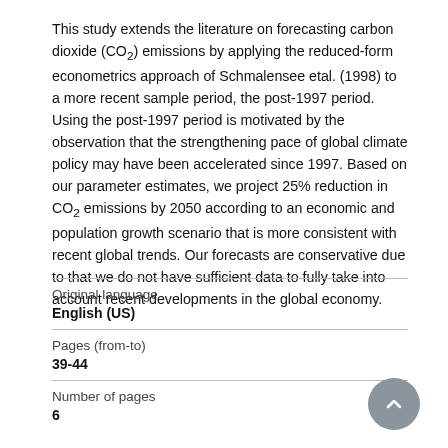This study extends the literature on forecasting carbon dioxide (CO₂) emissions by applying the reduced-form econometrics approach of Schmalensee etal. (1998) to a more recent sample period, the post-1997 period. Using the post-1997 period is motivated by the observation that the strengthening pace of global climate policy may have been accelerated since 1997. Based on our parameter estimates, we project 25% reduction in CO₂ emissions by 2050 according to an economic and population growth scenario that is more consistent with recent global trends. Our forecasts are conservative due to that we do not have sufficient data to fully take into account recent developments in the global economy.
| Field | Value |
| --- | --- |
| Original language | English (US) |
| Pages (from-to) | 39-44 |
| Number of pages | 6 |